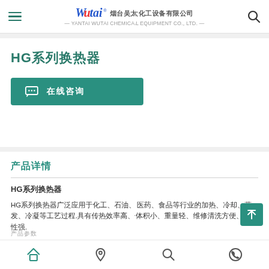Wutai 烟台吴太化工设备有限公司 — YANTAI WUTAI CHEMICAL EQUIPMENT CO., LTD. —
HG系列换热器
在线咨询
产品详情
HG系列换热器
HG系列换热器广泛应用于化工、石油、医药、食品等行业的加热、冷却、蒸发、冷凝等工艺过程.具有传热效率高、体积小、重量轻、维修清洗方便、适应性强.
产品参数